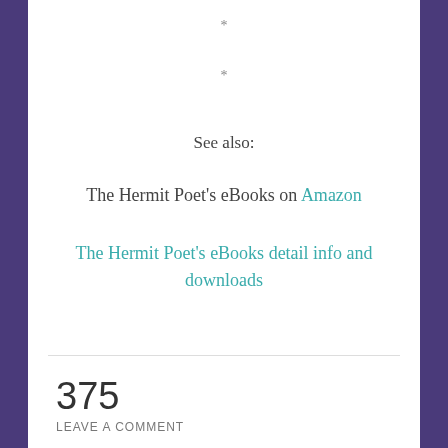*
*
See also:
The Hermit Poet's eBooks on Amazon
The Hermit Poet's eBooks detail info and downloads
375
LEAVE A COMMENT